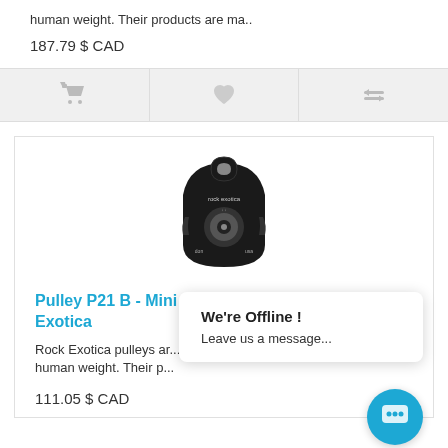human weight. Their products are ma..
187.79 $ CAD
[Figure (other): Action bar with cart, heart/wishlist, and compare icons on grey background]
[Figure (photo): Rock Exotica black mini machined single pulley P21 B product photo]
Pulley P21 B - Mini Machined / Single / Rock Exotica
Rock Exotica pulleys ar... nd human weight. Their p...
111.05 $ CAD
We're Offline ! Leave us a message...